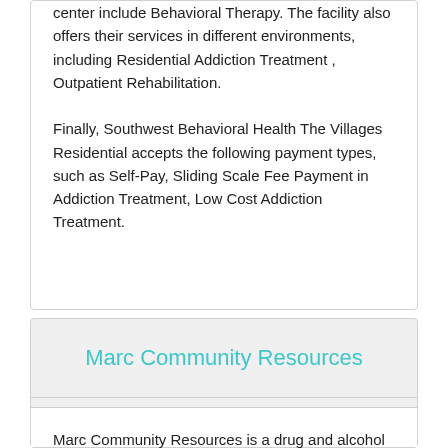center include Behavioral Therapy. The facility also offers their services in different environments, including Residential Addiction Treatment , Outpatient Rehabilitation.
Finally, Southwest Behavioral Health The Villages Residential accepts the following payment types, such as Self-Pay, Sliding Scale Fee Payment in Addiction Treatment, Low Cost Addiction Treatment.
Marc Community Resources
Marc Community Resources is a drug and alcohol treatment facility based at 4250 East